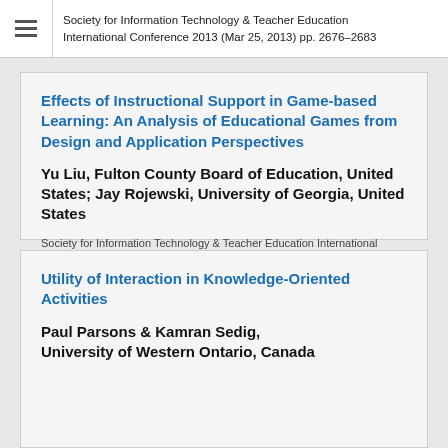Society for Information Technology & Teacher Education International Conference 2013 (Mar 25, 2013) pp. 2676–2683
Effects of Instructional Support in Game-based Learning: An Analysis of Educational Games from Design and Application Perspectives
Yu Liu, Fulton County Board of Education, United States; Jay Rojewski, University of Georgia, United States
Society for Information Technology & Teacher Education International Conference 2013 (Mar 25, 2013) pp. 43–50
Utility of Interaction in Knowledge-Oriented Activities
Paul Parsons & Kamran Sedig, University of Western Ontario, Canada